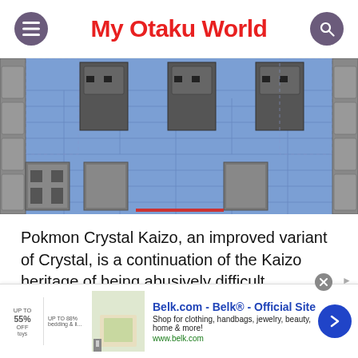My Otaku World
[Figure (screenshot): Pixel art screenshot from Pokemon Crystal Kaizo showing game interior with brick wall background and character sprites]
Pokmon Crystal Kaizo, an improved variant of Crystal, is a continuation of the Kaizo heritage of being abusively difficult.
[Figure (other): Advertisement banner for Belk.com - Belk Official Site. Shop for clothing, handbags, jewelry, beauty, home & more! www.belk.com]